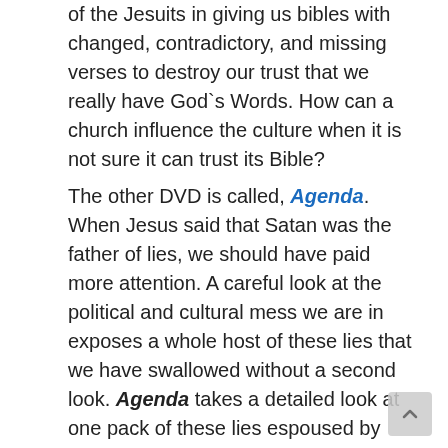of the Jesuits in giving us bibles with changed, contradictory, and missing verses to destroy our trust that we really have God`s Words. How can a church influence the culture when it is not sure it can trust its Bible?
The other DVD is called, Agenda. When Jesus said that Satan was the father of lies, we should have paid more attention. A careful look at the political and cultural mess we are in exposes a whole host of these lies that we have swallowed without a second look. Agenda takes a detailed look at one pack of these lies espoused by Karl Marx. Most people think that "communism" is dead, buried somewhere in Russia. Agenda shows how clever Satan is at renaming his lies so that the next generation will swallow them with just another flavor of sugar coating. Paul told the